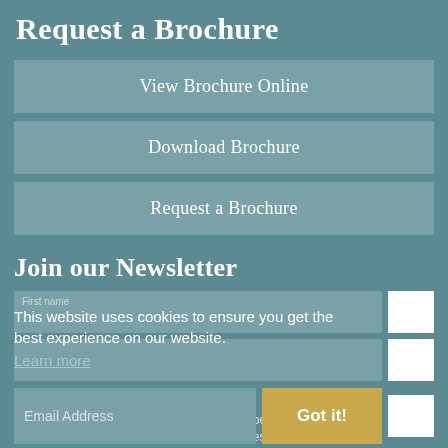Request a Brochure
View Brochure Online
Download Brochure
Request a Brochure
Join our Newsletter
This website uses cookies to ensure you get the best experience on our website.
Learn more
Email Address
Got it!
By entering your email address you agree to be contacted by Byways Breaks in relation to news and updates